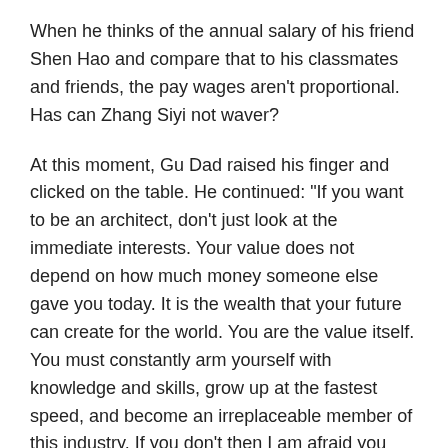When he thinks of the annual salary of his friend Shen Hao and compare that to his classmates and friends, the pay wages aren't proportional. Has can Zhang Siyi not waver?
At this moment, Gu Dad raised his finger and clicked on the table. He continued: "If you want to be an architect, don't just look at the immediate interests. Your value does not depend on how much money someone else gave you today. It is the wealth that your future can create for the world. You are the value itself. You must constantly arm yourself with knowledge and skills, grow up at the fastest speed, and become an irreplaceable member of this industry. If you don't then I am afraid you would be eliminated."